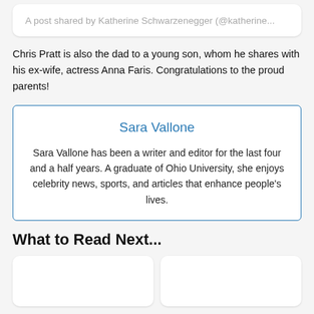A post shared by Katherine Schwarzenegger (@katherine...
Chris Pratt is also the dad to a young son, whom he shares with his ex-wife, actress Anna Faris. Congratulations to the proud parents!
Sara Vallone
Sara Vallone has been a writer and editor for the last four and a half years. A graduate of Ohio University, she enjoys celebrity news, sports, and articles that enhance people's lives.
What to Read Next...